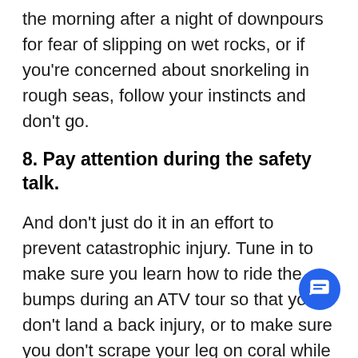the morning after a night of downpours for fear of slipping on wet rocks, or if you're concerned about snorkeling in rough seas, follow your instincts and don't go.
8. Pay attention during the safety talk.
And don't just do it in an effort to prevent catastrophic injury. Tune in to make sure you learn how to ride the bumps during an ATV tour so that you don't land a back injury, or to make sure you don't scrape your leg on co— while snorkeling and end up with a nasty infection. Frederick says that for his tours it's